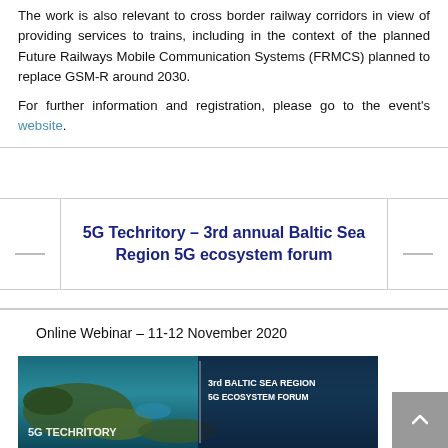The work is also relevant to cross border railway corridors in view of providing services to trains, including in the context of the planned Future Railways Mobile Communication Systems (FRMCS) planned to replace GSM-R around 2030.
For further information and registration, please go to the event's website.
|  | 5G Techritory – 3rd annual Baltic Sea Region 5G ecosystem forum |  |
Online Webinar – 11-12 November 2020
[Figure (photo): 5G Techritory – 3rd Baltic Sea Region 5G Ecosystem Forum promotional image showing aerial view of Baltic Sea coastline with event title overlay]